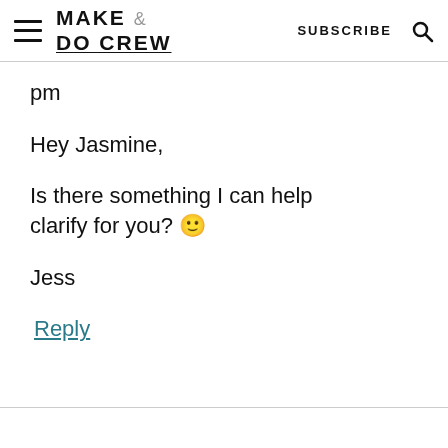MAKE & DO CREW | SUBSCRIBE
pm
Hey Jasmine,
Is there something I can help clarify for you? 🙂
Jess
Reply